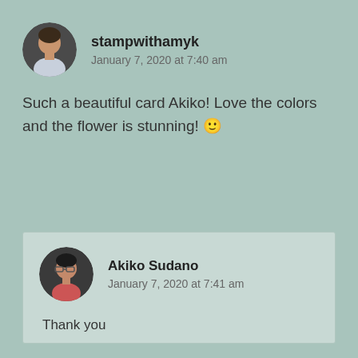[Figure (photo): Circular avatar photo of stampwithamyk user, showing a person with short hair]
stampwithamyk
January 7, 2020 at 7:40 am
Such a beautiful card Akiko! Love the colors and the flower is stunning! 🙂
[Figure (photo): Circular avatar photo of Akiko Sudano, showing a person with glasses and dark hair]
Akiko Sudano
January 7, 2020 at 7:41 am
Thank you